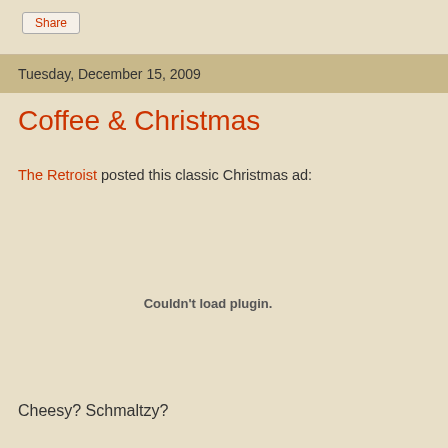Share
Tuesday, December 15, 2009
Coffee & Christmas
The Retroist posted this classic Christmas ad:
[Figure (other): Embedded plugin area showing 'Couldn't load plugin.' message]
Cheesy? Schmaltzy?